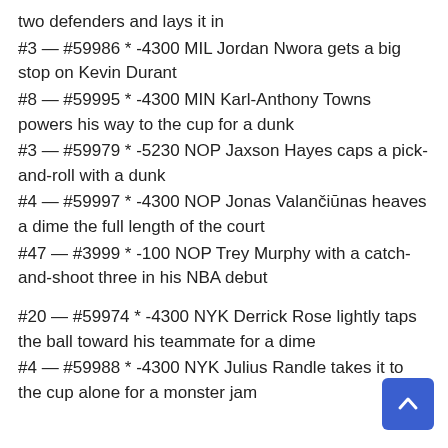two defenders and lays it in
#3 — #59986 * -4300 MIL Jordan Nwora gets a big stop on Kevin Durant
#8 — #59995 * -4300 MIN Karl-Anthony Towns powers his way to the cup for a dunk
#3 — #59979 * -5230 NOP Jaxson Hayes caps a pick-and-roll with a dunk
#4 — #59997 * -4300 NOP Jonas Valančiūnas heaves a dime the full length of the court
#47 — #3999 * -100 NOP Trey Murphy with a catch-and-shoot three in his NBA debut
#20 — #59974 * -4300 NYK Derrick Rose lightly taps the ball toward his teammate for a dime
#4 — #59988 * -4300 NYK Julius Randle takes it to the cup alone for a monster jam